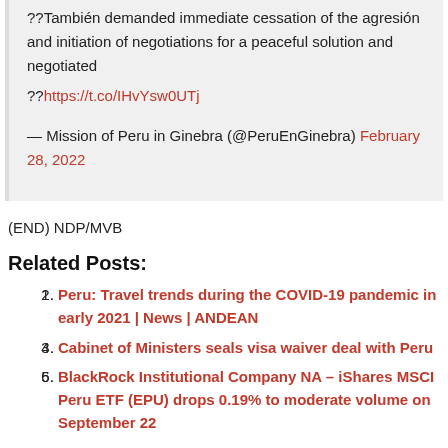??También demanded immediate cessation of the agresión and initiation of negotiations for a peaceful solution and negotiated
??https://t.co/IHvYsw0UTj

— Mission of Peru in Ginebra (@PeruEnGinebra) February 28, 2022
(END) NDP/MVB
Related Posts:
Peru: Travel trends during the COVID-19 pandemic in early 2021 | News | ANDEAN
Cabinet of Ministers seals visa waiver deal with Peru
BlackRock Institutional Company NA – iShares MSCI Peru ETF (EPU) drops 0.19% to moderate volume on September 22